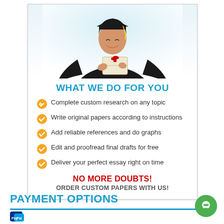[Figure (illustration): Graduate student in cap and gown holding a diploma scroll with red ribbon]
WHAT WE DO FOR YOU
Complete custom research on any topic
Write original papers according to instructions
Add reliable references and do graphs
Edit and proofread final drafts for free
Deliver your perfect essay right on time
NO MORE DOUBTS! ORDER CUSTOM PAPERS WITH US!
PAYMENT OPTIONS
[Figure (logo): PayPal logo partial at bottom left]